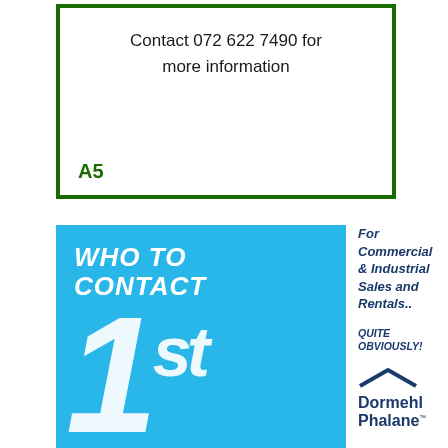Contact 072 622 7490 for more information
A5
[Figure (infographic): Blue square advertisement with bold white italic text 'WHO TO CONTACT' and large '1st' numeral on cyan/sky-blue background]
For Commercial & Industrial Sales and Rentals..
QUITE OBVIOUSLY!
[Figure (logo): Dormehl Phalane logo with house/roof icon above the text]
Dormehl Phalane™